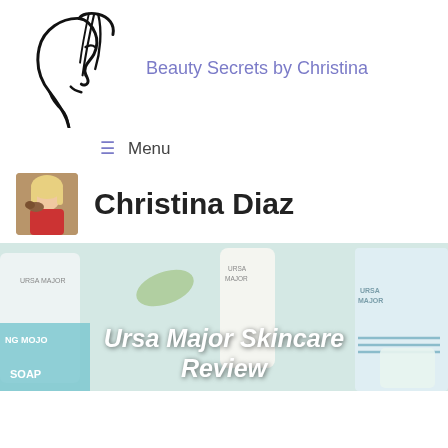[Figure (logo): Line art illustration of a woman's face in profile, with flowing hair lines]
Beauty Secrets by Christina
≡ Menu
[Figure (photo): Small avatar photo of Christina Diaz, a woman with light hair, holding a small dog]
Christina Diaz
[Figure (photo): Banner image showing Ursa Major skincare products laid flat — tubes and packets labelled URSA MAJOR, NG MOJO, SOAP — with text overlay 'Ursa Major Skincare Review']
Ursa Major Skincare Review